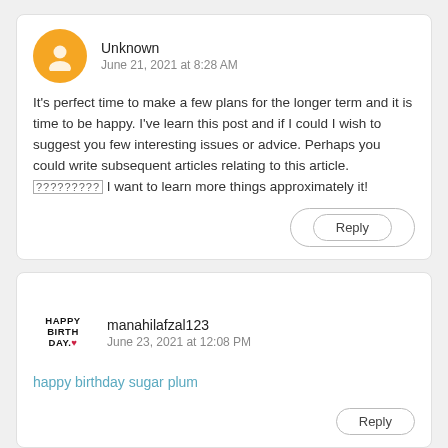[Figure (illustration): Blogger default user avatar - orange circle with white silhouette icon]
Unknown
June 21, 2021 at 8:28 AM
It's perfect time to make a few plans for the longer term and it is time to be happy. I've learn this post and if I could I wish to suggest you few interesting issues or advice. Perhaps you could write subsequent articles relating to this article. ????????? I want to learn more things approximately it!
Reply
[Figure (illustration): Happy Birthday avatar image with stacked text HAPPY BIRTH DAY with a heart]
manahilafzal123
June 23, 2021 at 12:08 PM
happy birthday sugar plum
Reply